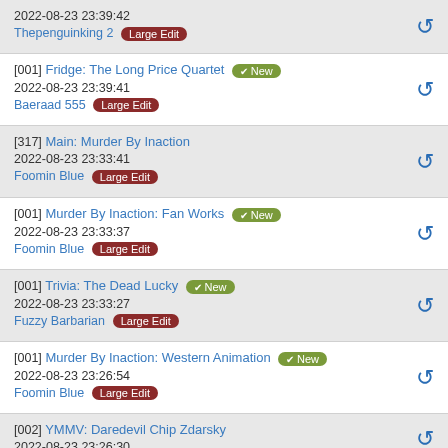2022-08-23 23:39:42 | Thepenguinking 2 | Large Edit
[001] Fridge: The Long Price Quartet | New | 2022-08-23 23:39:41 | Baeraad 555 | Large Edit
[317] Main: Murder By Inaction | 2022-08-23 23:33:41 | Foomin Blue | Large Edit
[001] Murder By Inaction: Fan Works | New | 2022-08-23 23:33:37 | Foomin Blue | Large Edit
[001] Trivia: The Dead Lucky | New | 2022-08-23 23:33:27 | Fuzzy Barbarian | Large Edit
[001] Murder By Inaction: Western Animation | New | 2022-08-23 23:26:54 | Foomin Blue | Large Edit
[002] YMMV: Daredevil Chip Zdarsky | 2022-08-23 23:26:30